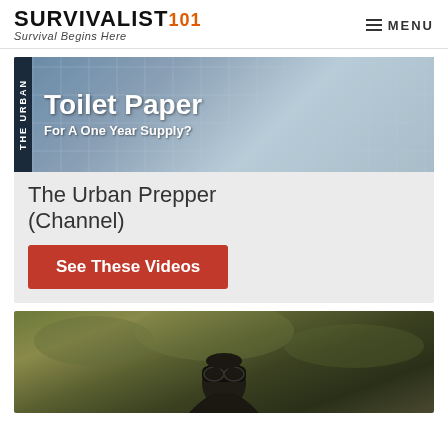SURVIVALIST101 Survival Begins Here | MENU
[Figure (photo): Urban prepper channel promotional image showing stacked toilet paper rolls with text 'Toilet Paper For A One Year Supply?' and a vertical banner reading 'THE URBAN']
The Urban Prepper (Channel)
See These Videos
[Figure (photo): Photo of a person wearing goggles against a dramatic cloudy sky background, in olive/sepia tones]